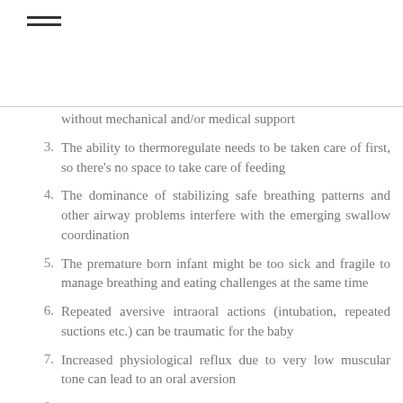≡
without mechanical and/or medical support
3. The ability to thermoregulate needs to be taken care of first, so there's no space to take care of feeding
4. The dominance of stabilizing safe breathing patterns and other airway problems interfere with the emerging swallow coordination
5. The premature born infant might be too sick and fragile to manage breathing and eating challenges at the same time
6. Repeated aversive intraoral actions (intubation, repeated suctions etc.) can be traumatic for the baby
7. Increased physiological reflux due to very low muscular tone can lead to an oral aversion
8. Additional medical complications like sepsis or surgeries make tube weaning impossible
9. Lacking aftercare structures in the hospital, no tube